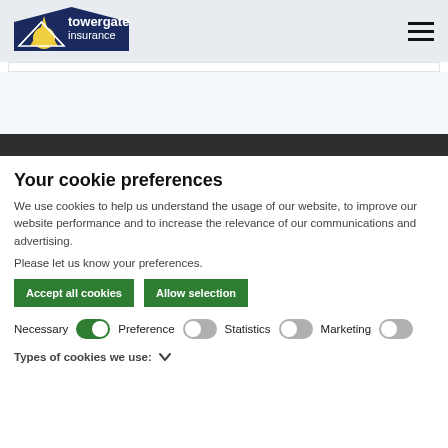[Figure (logo): Towergate Insurance logo — dark blue triangular mountain shape with yellow sunburst, white text 'towergate insurance']
Your cookie preferences
We use cookies to help us understand the usage of our website, to improve our website performance and to increase the relevance of our communications and advertising.
Please let us know your preferences.
Accept all cookies
Allow selection
Necessary  Preference  Statistics  Marketing
Types of cookies we use: ∨